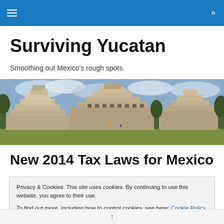☰  🔍
Surviving Yucatan
Smoothing out Mexico's rough spots.
[Figure (photo): Panoramic photo of ancient Mayan ruins (pyramids and stepped structures) with trees in background and grass in foreground under a cloudy sky]
New 2014 Tax Laws for Mexico
Privacy & Cookies: This site uses cookies. By continuing to use this website, you agree to their use.
To find out more, including how to control cookies, see here: Cookie Policy
Close and accept